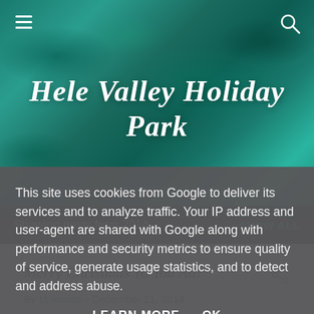[Figure (photo): Aerial view of teal/turquoise ocean water forming the header background]
Hele Valley Holiday Park
Showing posts from 2014    SHOW ALL
Merry Christmas To You All!
By Unknown - December 11, 2014
This site uses cookies from Google to deliver its services and to analyze traffic. Your IP address and user-agent are shared with Google along with performance and security metrics to ensure quality of service, generate usage statistics, and to detect and address abuse.
LEARN MORE    OK